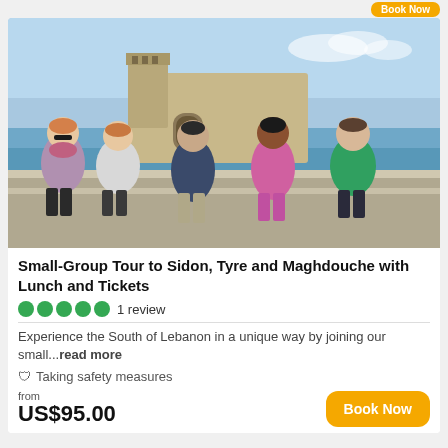[Figure (photo): Five tourists (two older women, one man with beard, one woman in colorful dress, one man in green shirt) posing in front of a medieval sea castle (Sidon Sea Castle) with blue sky and water in the background.]
Small-Group Tour to Sidon, Tyre and Maghdouche with Lunch and Tickets
1 review
Experience the South of Lebanon in a unique way by joining our small...read more
Taking safety measures
from US$95.00
Book Now